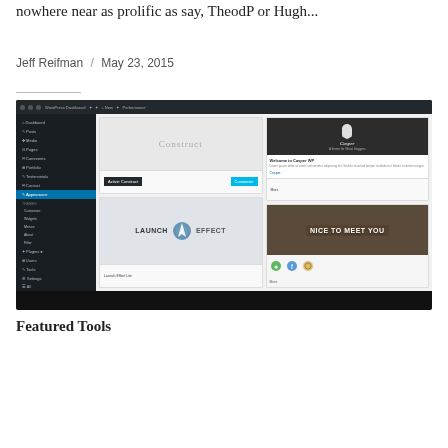nowhere near as prolific as say, TheodP or Hugh...
Jeff Reifman  /  May 23, 2015
[Figure (screenshot): WordPress admin dashboard screenshot showing theme selection page with Construct theme active, and other themes including Launch Effect and Casper WP visible]
Featured Tools